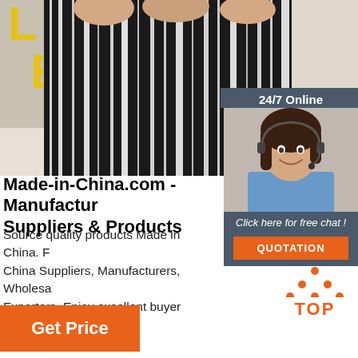[Figure (photo): Person wearing black and white striped wide-leg pants, holding fabric, with a partial yellow logo visible on the left side. Background is light/white.]
[Figure (infographic): 24/7 Online chat widget showing a smiling woman with a headset, 'Click here for free chat!' text, and an orange QUOTATION button.]
Made-in-China.com - Manufacturers, Suppliers & Products
Source quality products Made in China. Find reliable China Suppliers, Manufacturers, Wholesalers & Exporters. Enjoy excellent buyer service with Made-in-China.com.
[Figure (logo): Orange TOP button with dotted triangle/arrow pointing upward]
Get Price